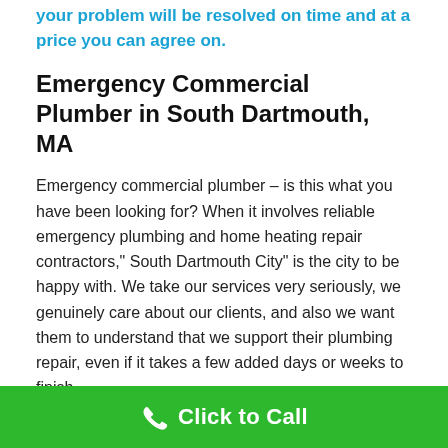your problem will be resolved on time and at a price you can agree on.
Emergency Commercial Plumber in South Dartmouth, MA
Emergency commercial plumber – is this what you have been looking for? When it involves reliable emergency plumbing and home heating repair contractors," South Dartmouth City" is the city to be happy with. We take our services very seriously, we genuinely care about our clients, and also we want them to understand that we support their plumbing repair, even if it takes a few added days or weeks to finish.
Currently, keeping that being claimed, there is no replacement for calling an emergency plumber in South Dartmouth. There are occasions where the situation requires...
Click to Call